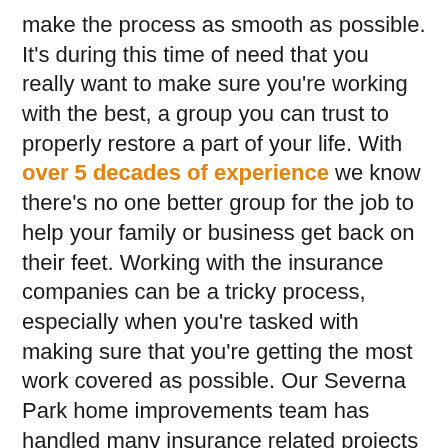make the process as smooth as possible. It's during this time of need that you really want to make sure you're working with the best, a group you can trust to properly restore a part of your life. With over 5 decades of experience we know there's no one better group for the job to help your family or business get back on their feet. Working with the insurance companies can be a tricky process, especially when you're tasked with making sure that you're getting the most work covered as possible. Our Severna Park home improvements team has handled many insurance related projects and will work within your claim. We'll alleviate you of this burden by providing assistance with your roof, siding, and gutters in S.P.. We will help by going through your available options with you, picking out pieces that match the previous look of your home. We'll